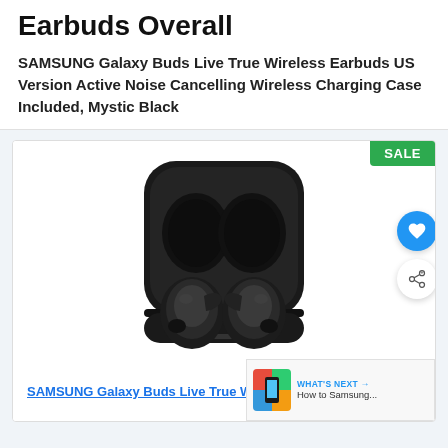Earbuds Overall
SAMSUNG Galaxy Buds Live True Wireless Earbuds US Version Active Noise Cancelling Wireless Charging Case Included, Mystic Black
[Figure (photo): Samsung Galaxy Buds Live true wireless earbuds in open black charging case, shown with SALE badge in top right corner]
SAMSUNG Galaxy Buds Live True Wireless